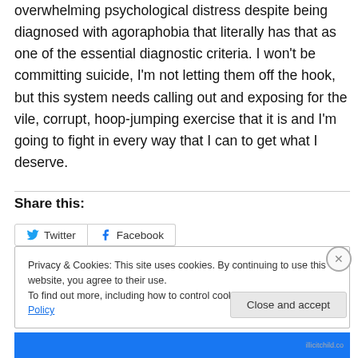overwhelming psychological distress despite being diagnosed with agoraphobia that literally has that as one of the essential diagnostic criteria. I won't be committing suicide, I'm not letting them off the hook, but this system needs calling out and exposing for the vile, corrupt, hoop-jumping exercise that it is and I'm going to fight in every way that I can to get what I deserve.
Share this:
Twitter Facebook
Privacy & Cookies: This site uses cookies. By continuing to use this website, you agree to their use.
To find out more, including how to control cookies, see here: Cookie Policy
Close and accept